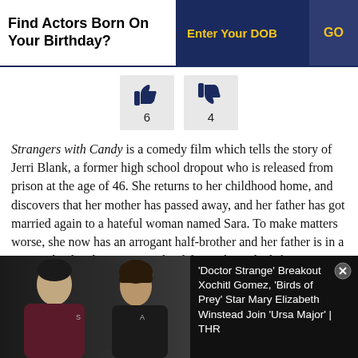Find Actors Born On Your Birthday? | Enter Your DOB | GO
[Figure (infographic): Thumbs up icon with count 6 and thumbs down icon with count 4]
Strangers with Candy is a comedy film which tells the story of Jerri Blank, a former high school dropout who is released from prison at the age of 46. She returns to her childhood home, and discovers that her mother has passed away, and her father has got married again to a hateful woman named Sara. To make matters worse, she now has an arrogant half-brother and her father is in a coma. She decides to resume her life at where she left
[Figure (photo): Two women posing at a public event. On the left, a woman with short dark hair wearing a dark red outfit. On the right, a woman with bangs wearing a patterned outfit.]
'Doctor Strange' Breakout Xochitl Gomez, 'Birds of Prey' Star Mary Elizabeth Winstead Join 'Ursa Major' | THR